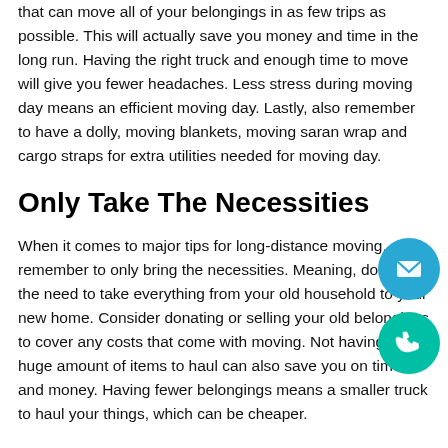that can move all of your belongings in as few trips as possible. This will actually save you money and time in the long run. Having the right truck and enough time to move will give you fewer headaches. Less stress during moving day means an efficient moving day. Lastly, also remember to have a dolly, moving blankets, moving saran wrap and cargo straps for extra utilities needed for moving day.
Only Take The Necessities
When it comes to major tips for long-distance moving, remember to only bring the necessities. Meaning, don't feel the need to take everything from your old household to your new home. Consider donating or selling your old belongings to cover any costs that come with moving. Not having a huge amount of items to haul can also save you on time and money. Having fewer belongings means a smaller truck to haul your things, which can be cheaper.